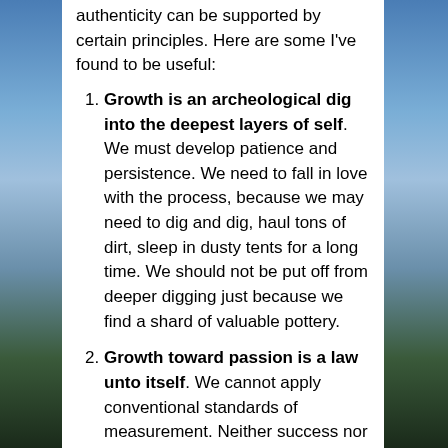authenticity can be supported by certain principles. Here are some I've found to be useful:
Growth is an archeological dig into the deepest layers of self. We must develop patience and persistence. We need to fall in love with the process, because we may need to dig and dig, haul tons of dirt, sleep in dusty tents for a long time. We should not be put off from deeper digging just because we find a shard of valuable pottery.
Growth toward passion is a law unto itself. We cannot apply conventional standards of measurement. Neither success nor failure; neither good nor bad; neither right nor wrong exist in the context of growth. If we are on a journey without end, how can we know of our success, of our achievement, of our attainment? We can notice our escalating freedom and joy.